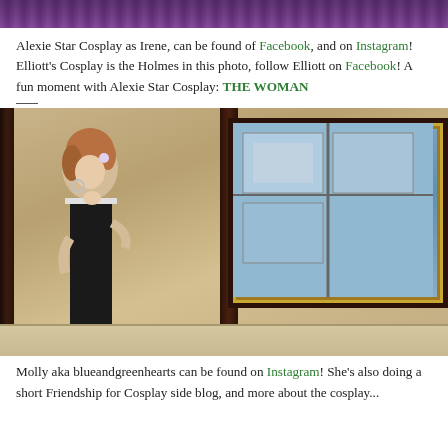[Figure (photo): Top portion of a cosplay photo, cropped at top of page showing decorative elements]
Alexie Star Cosplay as Irene, can be found of Facebook, and on Instagram! Elliott's Cosplay is the Holmes in this photo, follow Elliott on Facebook! A fun moment with Alexie Star Cosplay: THE WOMAN
[Figure (photo): Photo of Molly aka blueandgreenhearts in cosplay as Irene Adler, wearing a black dress with white trim, standing near dark wooden frame panels with a gold-framed mirror visible on the right side]
Molly aka blueandgreenhearts can be found on Instagram! She's also doing a short Friendship for Cosplay side blog, and more about the cosplay...